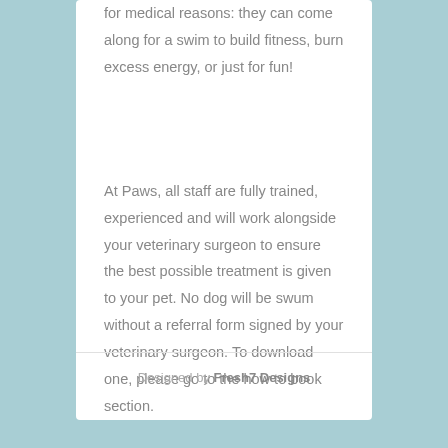for medical reasons: they can come along for a swim to build fitness, burn excess energy, or just for fun!
At Paws, all staff are fully trained, experienced and will work alongside your veterinary surgeon to ensure the best possible treatment is given to your pet. No dog will be swum without a referral form signed by your veterinary surgeon. To download one, please go to the how to book section.
Designed by Fresh7 Designs